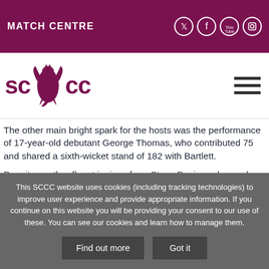MATCH CENTRE
[Figure (logo): SCCC logo with heraldic dragon/griffin between SC and CC in maroon]
The other main bright spark for the hosts was the performance of 17-year-old debutant George Thomas, who contributed 75 and shared a sixth-wicket stand of 182 with Bartlett.
Despite another fluent innings from Steve Davies, who made
This SCCC website uses cookies (including tracking technologies) to improve user experience and provide appropriate information. If you continue on this website you will be providing your consent to our use of these. You can see our cookies and learn how to manage them.
Find out more
Got it